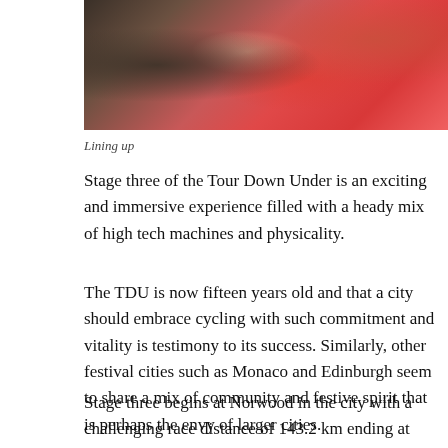[Figure (photo): Cyclists lining up at the start of a Tour Down Under stage, wearing colorful cycling jerseys including red and blue team kits with KASK helmets visible.]
Lining up
Stage three of the Tour Down Under is an exciting and immersive experience filled with a heady mix of high tech machines and physicality.
The TDU is now fifteen years old and that a city should embrace cycling with such commitment and vitality is testimony to its success. Similarly, other festival cities such as Monaco and Edinburgh seem to share a mix of community and festive spirit that is perhaps the envy of larger cities.
Stage three begins at Norwood in the city with a challenging race distance of 143.2 km ending at Paracombe nestled in the Adelaide Hills. But the competitors are all smiles and easy charm as they zoom past, radiating joy and inspiration.